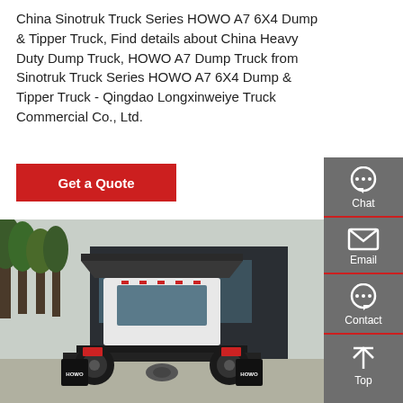China Sinotruk Truck Series HOWO A7 6X4 Dump & Tipper Truck, Find details about China Heavy Duty Dump Truck, HOWO A7 Dump Truck from Sinotruk Truck Series HOWO A7 6X4 Dump & Tipper Truck - Qingdao Longxinweiye Truck Commercial Co., Ltd.
[Figure (other): Red Get a Quote button]
[Figure (photo): Rear view of a HOWO A7 6X4 Dump & Tipper Truck parked in front of a dark industrial building with trees in the background. The truck has HOWO branding on the mud flaps.]
[Figure (infographic): Sidebar with Chat, Email, Contact, and Top navigation icons on a grey background]